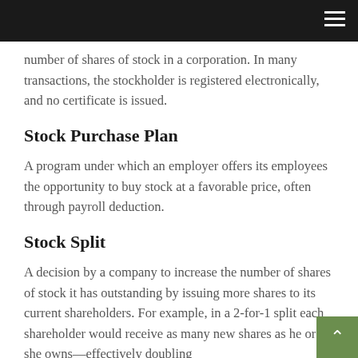number of shares of stock in a corporation. In many transactions, the stockholder is registered electronically, and no certificate is issued.
Stock Purchase Plan
A program under which an employer offers its employees the opportunity to buy stock at a favorable price, often through payroll deduction.
Stock Split
A decision by a company to increase the number of shares of stock it has outstanding by issuing more shares to its current shareholders. For example, in a 2-for-1 split each shareholder would receive as many new shares as he or she owns—effectively doubling